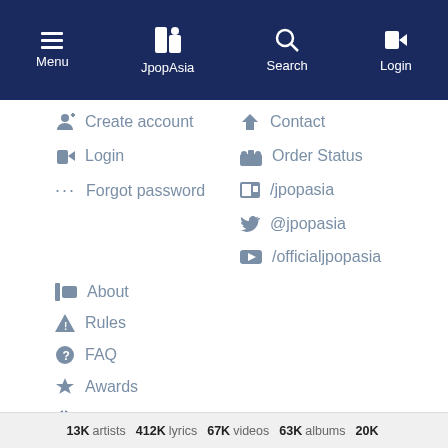Menu | JpopAsia | Search | Login
Create account
Login
Forgot password
Contact
Order Status
/jpopasia
@jpopasia
/officialjpopasia
About
Rules
FAQ
Awards
CoinBakers
Bolliewood
13K artists 412K lyrics 67K videos 63K albums 20K